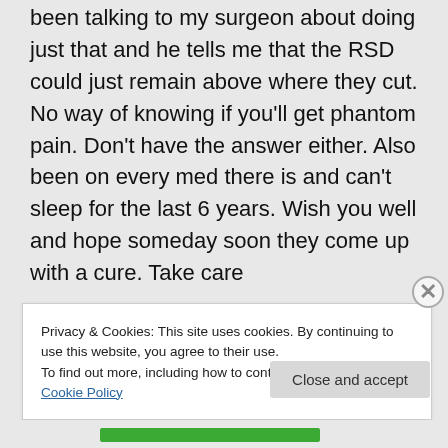been talking to my surgeon about doing just that and he tells me that the RSD could just remain above where they cut. No way of knowing if you'll get phantom pain. Don't have the answer either. Also been on every med there is and can't sleep for the last 6 years. Wish you well and hope someday soon they come up with a cure. Take care
★ Like
👍 0 👎 0 ℹ Rate This
Privacy & Cookies: This site uses cookies. By continuing to use this website, you agree to their use.
To find out more, including how to control cookies, see here: Cookie Policy
Close and accept